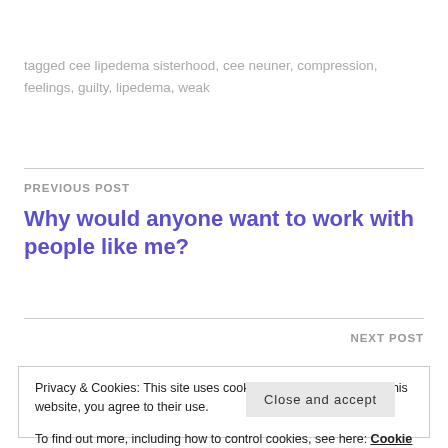tagged cee lipedema sisterhood, cee neuner, compression, feelings, guilty, lipedema, weak
PREVIOUS POST
Why would anyone want to work with people like me?
NEXT POST
Privacy & Cookies: This site uses cookies. By continuing to use this website, you agree to their use.
To find out more, including how to control cookies, see here: Cookie Policy
Close and accept